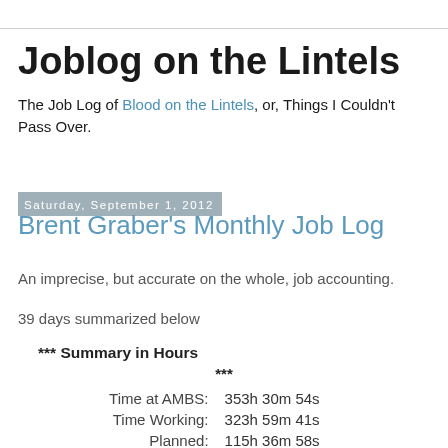Joblog on the Lintels
The Job Log of Blood on the Lintels, or, Things I Couldn't Pass Over.
Saturday, September 1, 2012
Brent Graber's Monthly Job Log
An imprecise, but accurate on the whole, job accounting.
39 days summarized below
*** Summary in Hours ***
| Label | Value |
| --- | --- |
| Time at AMBS: | 353h 30m 54s |
| Time Working: | 323h 59m 41s |
| Planned: | 115h 36m 58s |
| Projects/Tasks: | 45h 1m 20s |